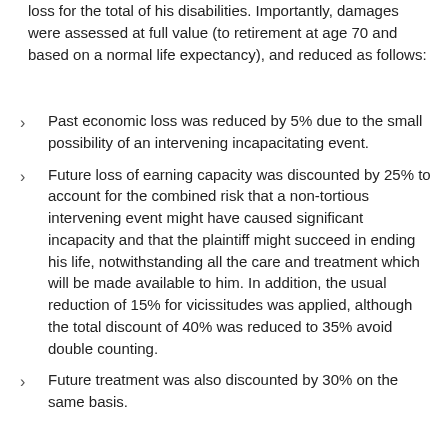loss for the total of his disabilities. Importantly, damages were assessed at full value (to retirement at age 70 and based on a normal life expectancy), and reduced as follows:
Past economic loss was reduced by 5% due to the small possibility of an intervening incapacitating event.
Future loss of earning capacity was discounted by 25% to account for the combined risk that a non-tortious intervening event might have caused significant incapacity and that the plaintiff might succeed in ending his life, notwithstanding all the care and treatment which will be made available to him. In addition, the usual reduction of 15% for vicissitudes was applied, although the total discount of 40% was reduced to 35% avoid double counting.
Future treatment was also discounted by 30% on the same basis.